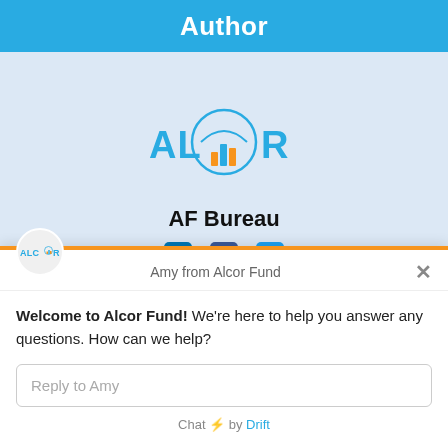Author
[Figure (logo): Alcor Fund logo with stylized bar chart icon in blue and orange inside a circle, text ALCOR in blue]
AF Bureau
[Figure (infographic): Social media icons: LinkedIn, Facebook, Twitter]
[Figure (logo): Small Alcor Fund logo in chat widget header]
Amy from Alcor Fund
Welcome to Alcor Fund! We're here to help you answer any questions. How can we help?
Reply to Amy
Chat ⚡ by Drift